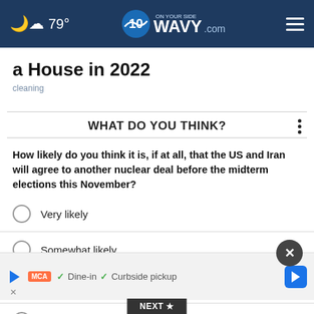79° WAVY.com ON YOUR SIDE
a House in 2022
cleaning
WHAT DO YOU THINK?
How likely do you think it is, if at all, that the US and Iran will agree to another nuclear deal before the midterm elections this November?
Very likely
Somewhat likely
Not at all likely
D[partially obscured]
✓ Dine-in  ✓ Curbside pickup
NEXT *